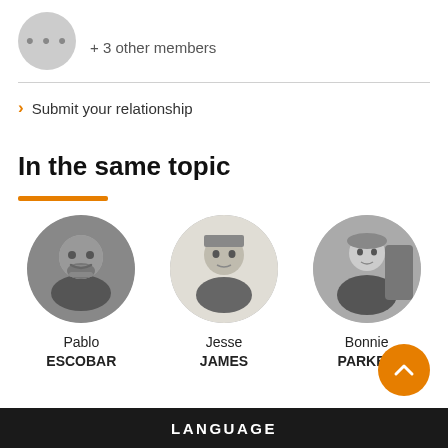+ 3 other members
> Submit your relationship
In the same topic
[Figure (photo): Circular portrait photo of Pablo Escobar, black and white]
Pablo ESCOBAR
[Figure (photo): Circular portrait photo of Jesse James, black and white]
Jesse JAMES
[Figure (photo): Circular portrait photo of Bonnie Parker, black and white, standing near a car]
Bonnie PARKER
LANGUAGE